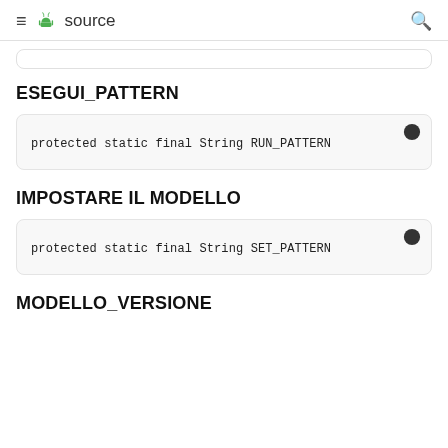source
ESEGUI_PATTERN
protected static final String RUN_PATTERN
IMPOSTARE IL MODELLO
protected static final String SET_PATTERN
MODELLO_VERSIONE